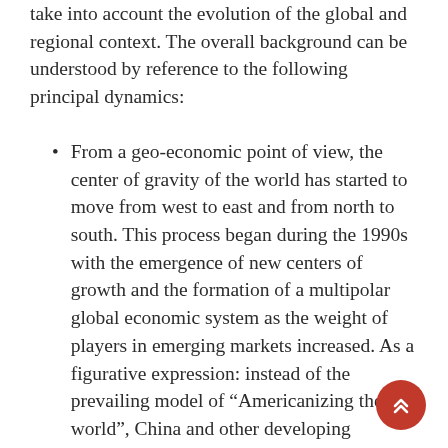take into account the evolution of the global and regional context. The overall background can be understood by reference to the following principal dynamics:
From a geo-economic point of view, the center of gravity of the world has started to move from west to east and from north to south. This process began during the 1990s with the emergence of new centers of growth and the formation of a multipolar global economic system as the weight of players in emerging markets increased. As a figurative expression: instead of the prevailing model of “Americanizing the world”, China and other developing countries